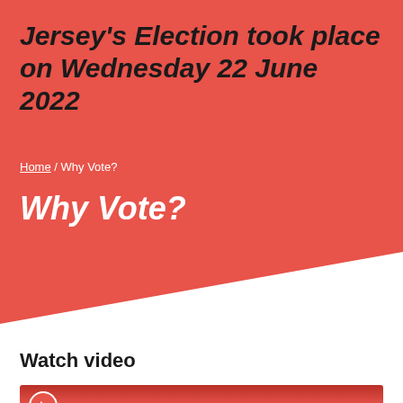Jersey's Election took place on Wednesday 22 June 2022
Home / Why Vote?
Why Vote?
Watch video
[Figure (screenshot): Video thumbnail with red background and play button circle]